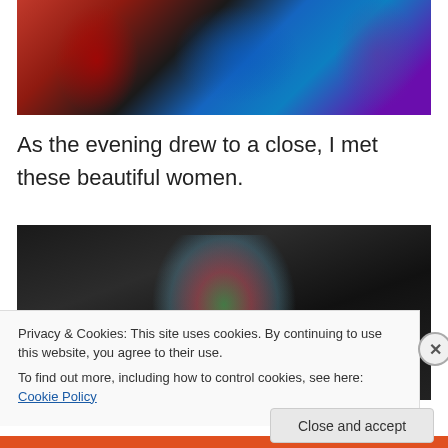[Figure (photo): Three people in colorful scarves and wraps: one in a red patterned scarf, one in dark clothing, one in a teal/blue scarf, one in purple wrap, at a dark evening event.]
As the evening drew to a close, I met these beautiful women.
[Figure (photo): A woman wearing a large colorful head wrap (multicolor: green, pink, blue) photographed at night against a dark background with bokeh lights.]
Privacy & Cookies: This site uses cookies. By continuing to use this website, you agree to their use.
To find out more, including how to control cookies, see here: Cookie Policy
Close and accept